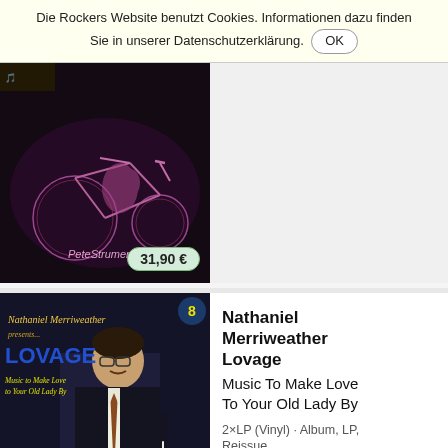Die Rockers Website benutzt Cookies. Informationen dazu finden Sie in unserer Datenschutzerklärung. OK
[Figure (photo): Album cover for PeteStrumentals 4 – dark background with pink/purple bicycle illustration, price badge showing 31,90 €]
[Figure (photo): Album cover for Nathaniel Merriweather presents Lovage - Music to Make Love to Your Old Lady By, showing a man in a dark suit with red roses]
Nathaniel Merriweather Lovage Music To Make Love To Your Old Lady By 2×LP (Vinyl) · Album, LP, Reissue Neuauflage